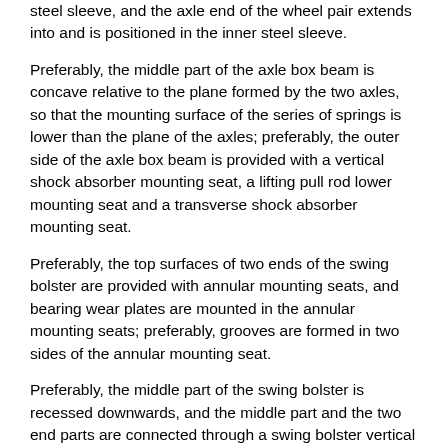steel sleeve, and the axle end of the wheel pair extends into and is positioned in the inner steel sleeve.
Preferably, the middle part of the axle box beam is concave relative to the plane formed by the two axles, so that the mounting surface of the series of springs is lower than the plane of the axles; preferably, the outer side of the axle box beam is provided with a vertical shock absorber mounting seat, a lifting pull rod lower mounting seat and a transverse shock absorber mounting seat.
Preferably, the top surfaces of two ends of the swing bolster are provided with annular mounting seats, and bearing wear plates are mounted in the annular mounting seats; preferably, grooves are formed in two sides of the annular mounting seat.
Preferably, the middle part of the swing bolster is recessed downwards, and the middle part and the two end parts are connected through a swing bolster vertical plane arranged on the outer side of the inner side surface of the wheel; a central pin mounting seat is arranged in the middle of the swing bolster; preferably, two annular vertical stopping seats are arranged at two side ends of the swing bolster